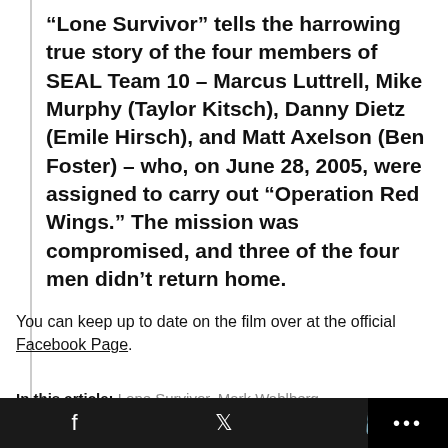“Lone Survivor” tells the harrowing true story of the four members of SEAL Team 10 – Marcus Luttrell, Mike Murphy (Taylor Kitsch), Danny Dietz (Emile Hirsch), and Matt Axelson (Ben Foster) – who, on June 28, 2005, were assigned to carry out “Operation Red Wings.” The mission was compromised, and three of the four men didn’t return home.
You can keep up to date on the film over at the official Facebook Page.
In this article: Lone Survivor, Mark Wahlberg
0 Comments